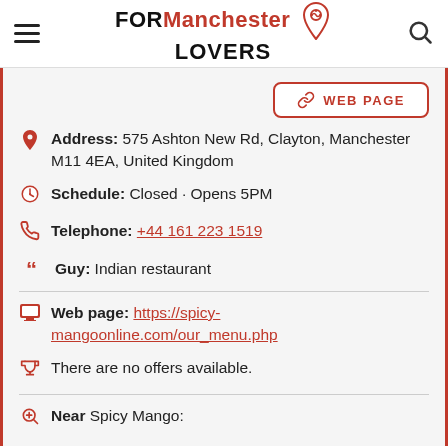FOR Manchester LOVERS
WEB PAGE
Address: 575 Ashton New Rd, Clayton, Manchester M11 4EA, United Kingdom
Schedule: Closed · Opens 5PM
Telephone: +44 161 223 1519
Guy: Indian restaurant
Web page: https://spicy-mangoonline.com/our_menu.php
There are no offers available.
Near Spicy Mango:
a 14 meters away baking classes: Celebrations Cakes